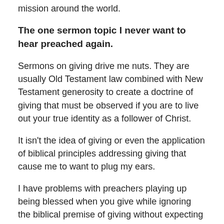mission around the world.
The one sermon topic I never want to hear preached again.
Sermons on giving drive me nuts. They are usually Old Testament law combined with New Testament generosity to create a doctrine of giving that must be observed if you are to live out your true identity as a follower of Christ.
It isn't the idea of giving or even the application of biblical principles addressing giving that cause me to want to plug my ears.
I have problems with preachers playing up being blessed when you give while ignoring the biblical premise of giving without expecting something in return, but that is not why I cringe every time I hear this topic preached.